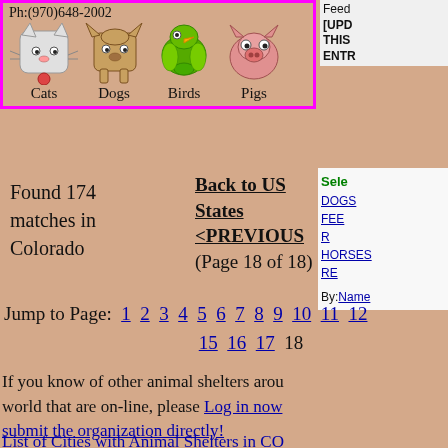Ph:(970)648-2002
[Figure (illustration): Animal icons: Cats, Dogs, Birds, Pigs with small pixel-art images]
Feed [UPDATE THIS ENTRY]
Select DOGS FE R HORSES RE By: Name
Found 174 matches in Colorado
Back to US States <PREVIOUS (Page 18 of 18)
Jump to Page: 1 2 3 4 5 6 7 8 9 10 11 12 15 16 17 18
If you know of other animal shelters around the world that are on-line, please Log in now and submit the organization directly!
List of Cities with Animal Shelters in CO